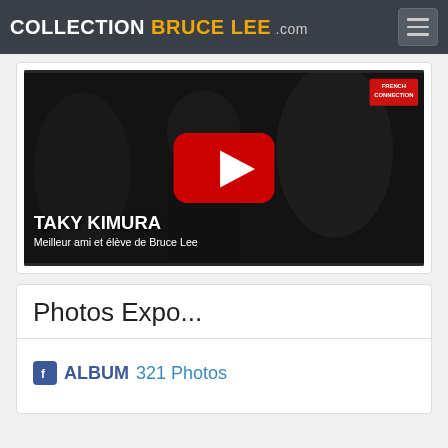COLLECTION BRUCE LEE .com
[Figure (screenshot): YouTube video thumbnail showing Taky Kimura, described as 'Meilleur ami et élève de Bruce Lee', with a red play button overlay and martial arts background imagery. Badge in top right corner.]
Photos Expo...
ALBUM 321 Photos